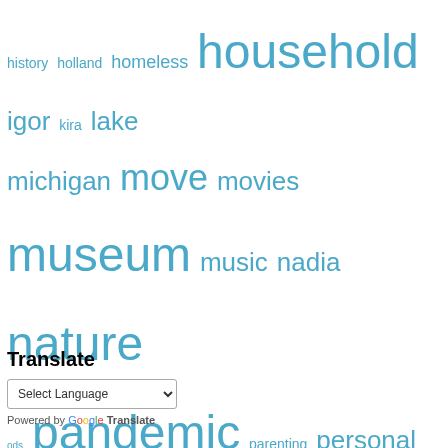[Figure (other): Tag cloud with words of varying sizes in blue color, including: history, holland, homeless, household, igor, kira, lake, michigan, move, movies, museum, music, nadia, nature, ods, pandemic, parenting, personal, politics, postgres, protests, publictransportation, quarantine, reflections, relationships, reproductive justice, russia, shopping, social issues, time management, ukraine, university, usa, us history, ussr, vlad, war, weather, women rights, work, work-life balance, workplace]
Translate
Select Language
Powered by Google Translate